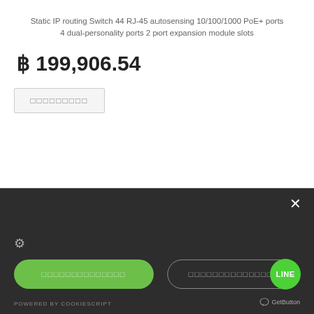Static IP routing Switch 44 RJ-45 autosensing 10/100/1000 PoE+ ports 4 dual-personality ports 2 port expansion module slots
฿ 199,906.54
□□□□□□□□□
×
⚙
□□□□□□□□□□□□□□
□□□□□□□□□□□□□□
LINE
POWERED BY COOKIESCRIPT
GetButton